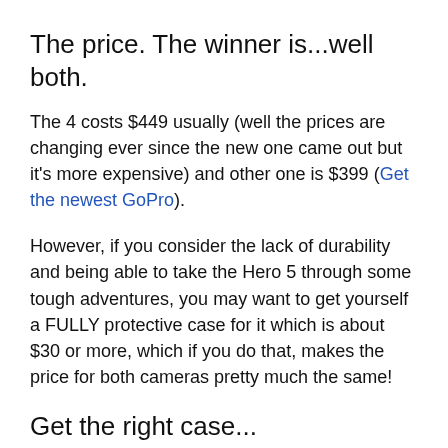The price. The winner is...well both.
The 4 costs $449 usually (well the prices are changing ever since the new one came out but it's more expensive) and other one is $399 (Get the newest GoPro).
However, if you consider the lack of durability and being able to take the Hero 5 through some tough adventures, you may want to get yourself a FULLY protective case for it which is about $30 or more, which if you do that, makes the price for both cameras pretty much the same!
Get the right case...
I actually recently ordered myself a FULL case because there is no way I am ever going to take